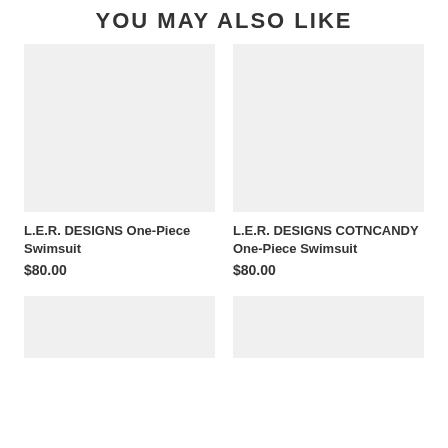YOU MAY ALSO LIKE
[Figure (photo): Product image placeholder for L.E.R. DESIGNS One-Piece Swimsuit (light gray rectangle)]
L.E.R. DESIGNS One-Piece Swimsuit
$80.00
[Figure (photo): Product image placeholder for L.E.R. DESIGNS COTNCANDY One-Piece Swimsuit (light gray rectangle)]
L.E.R. DESIGNS COTNCANDY One-Piece Swimsuit
$80.00
[Figure (photo): Product image placeholder bottom left (light gray rectangle, partially visible)]
[Figure (photo): Product image placeholder bottom right (light gray rectangle, partially visible)]